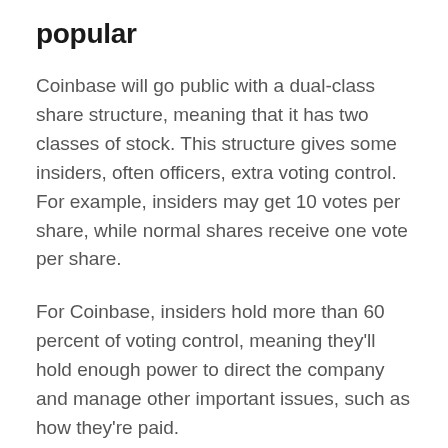popular
Coinbase will go public with a dual-class share structure, meaning that it has two classes of stock. This structure gives some insiders, often officers, extra voting control. For example, insiders may get 10 votes per share, while normal shares receive one vote per share.
For Coinbase, insiders hold more than 60 percent of voting control, meaning they'll hold enough power to direct the company and manage other important issues, such as how they're paid.
A dual-class share structure is not popular with outside investors because the structure means